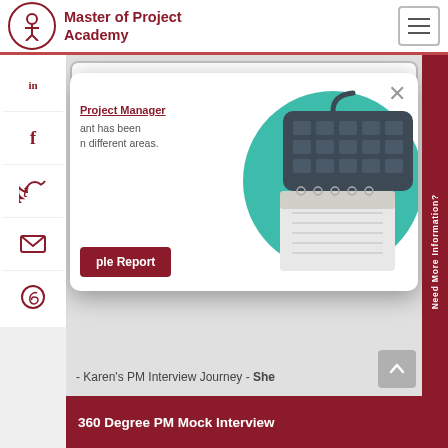[Figure (logo): Master of Project Academy logo — circular emblem with figure and text]
Master of Project Academy
[Figure (screenshot): Website screenshot showing social share sidebar (LinkedIn, Facebook, Twitter, Email, WhatsApp), a modal popup with teal illustration of keyboard and notepad, Project Manager report text and button, and bottom bar with 360 Degree PM Mock Interview]
Project Manager
ant has been in different areas.
ple Report
- Karen's PM Interview Journey - She
360 Degree PM Mock Interview
Need More Information?